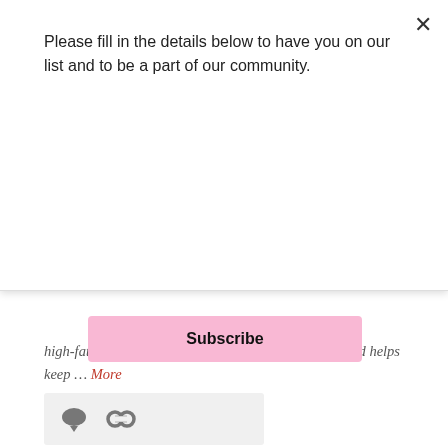Please fill in the details below to have you on our list and to be a part of our community.
Subscribe
high-fat molecule which makes it very moisturizing and helps keep … More
[Figure (other): Icon bar with comment bubble and chain-link icons on light grey background]
[Figure (other): WordPress Follow button in teal/blue with WordPress logo]
Follow Blog via Email
Enter your email address to follow this blog and receive